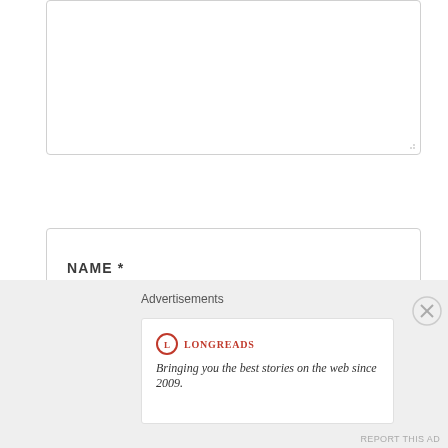[Figure (screenshot): Partial textarea form field at top of page with resize handle]
NAME *
EMAIL *
WEBSITE
[Figure (screenshot): Advertisement overlay: Longreads logo and tagline 'Bringing you the best stories on the web since 2009.']